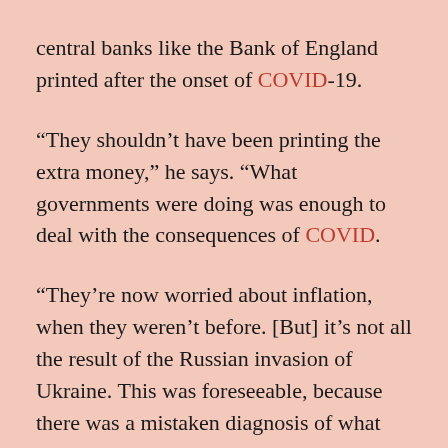central banks like the Bank of England printed after the onset of COVID-19.
“They shouldn’t have been printing the extra money,” he says. “What governments were doing was enough to deal with the consequences of COVID.
“They’re now worried about inflation, when they weren’t before. [But] it’s not all the result of the Russian invasion of Ukraine. This was foreseeable, because there was a mistaken diagnosis of what needed to be done with the pandemic.”
He says their idea that央 central banks...